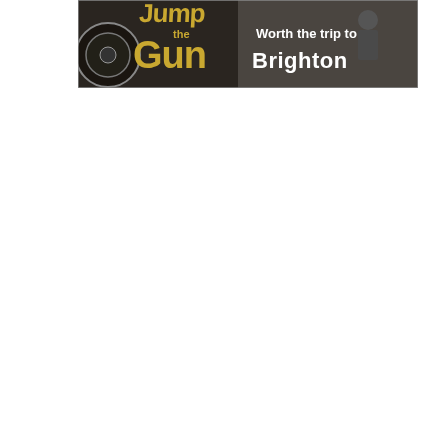[Figure (illustration): Promotional banner image with text 'Jump the Gun' in large gold/yellow stylized font on left side, and 'Worth the trip to Brighton' in white text on right side, against a dark grayscale photographic background showing mechanical/industrial elements and a figure.]